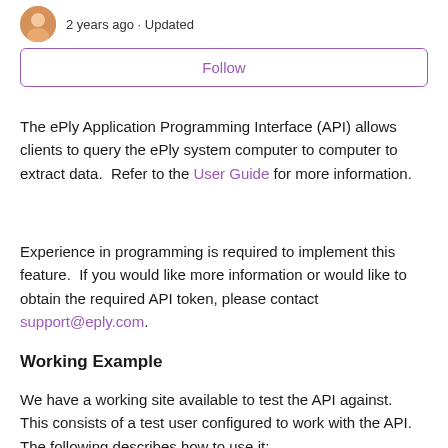2 years ago · Updated
Follow
The ePly Application Programming Interface (API) allows clients to query the ePly system computer to computer to extract data.  Refer to the User Guide for more information.
Experience in programming is required to implement this feature.  If you would like more information or would like to obtain the required API token, please contact support@eply.com.
Working Example
We have a working site available to test the API against.  This consists of a test user configured to work with the API.  The following describes how to use it: